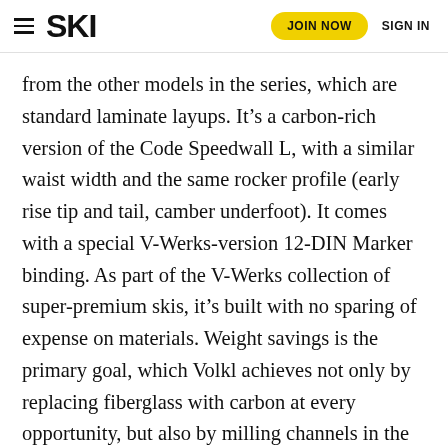SKI | JOIN NOW | SIGN IN
from the other models in the series, which are standard laminate layups. It’s a carbon-rich version of the Code Speedwall L, with a similar waist width and the same rocker profile (early rise tip and tail, camber underfoot). It comes with a special V-Werks-version 12-DIN Marker binding. As part of the V-Werks collection of super-premium skis, it’s built with no sparing of expense on materials. Weight savings is the primary goal, which Volkl achieves not only by replacing fiberglass with carbon at every opportunity, but also by milling channels in the wood core and leaving them empty. Lighter skis usually trade stability at speed, but two sheets of metal and Volkl’s UVO vibration-dampening module mitigate that. The premium construction comes at a premium price: the V-Werks Code retails for $1,450, which is a couple hundred more than the next most expensive model in the line.